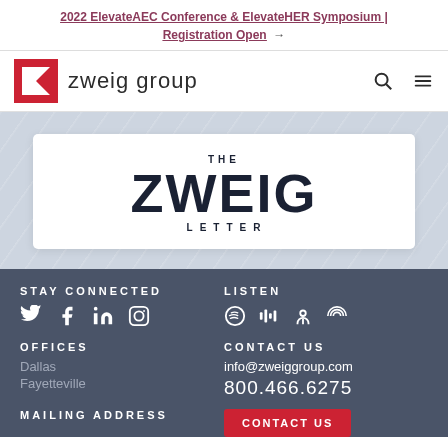2022 ElevateAEC Conference & ElevateHER Symposium | Registration Open →
[Figure (logo): Zweig Group logo with red Z icon and text 'zweig group', plus navigation search and menu icons]
[Figure (logo): The Zweig Letter logo — white card with 'THE ZWEIG LETTER' in dark navy bold typography]
STAY CONNECTED
LISTEN
OFFICES
Dallas
Fayetteville
CONTACT US
info@zweiggroup.com
800.466.6275
MAILING ADDRESS
CONTACT US